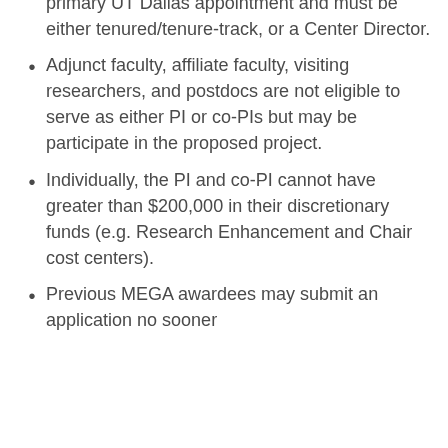primary UT Dallas appointment and must be either tenured/tenure-track, or a Center Director.
Adjunct faculty, affiliate faculty, visiting researchers, and postdocs are not eligible to serve as either PI or co-PIs but may be participate in the proposed project.
Individually, the PI and co-PI cannot have greater than $200,000 in their discretionary funds (e.g. Research Enhancement and Chair cost centers).
Previous MEGA awardees may submit an application no sooner